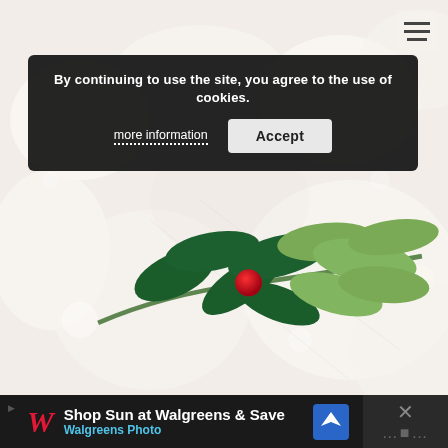[Figure (photo): Close-up photograph of a white Christmas tree decorated with green felt holly leaves and a red berry/pom-pom ornament, with a soft blurred light background.]
By continuing to use the site, you agree to the use of cookies.
more information   Accept
[Figure (screenshot): Bottom advertisement bar: Walgreens ad reading 'Shop Sun at Walgreens & Save' with Walgreens Photo subtext, Walgreens W logo, a navigation/direction icon, and a close button with X.]